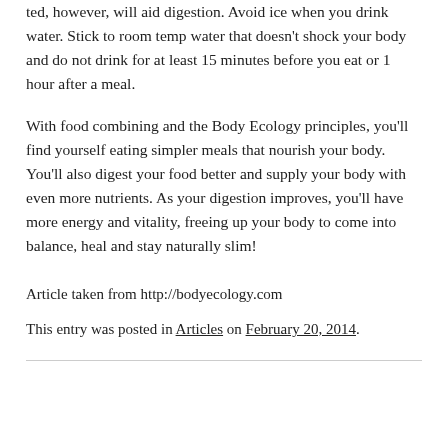ted, however, will aid digestion. Avoid ice when you drink water. Stick to room temp water that doesn't shock your body and do not drink for at least 15 minutes before you eat or 1 hour after a meal.
With food combining and the Body Ecology principles, you'll find yourself eating simpler meals that nourish your body. You'll also digest your food better and supply your body with even more nutrients. As your digestion improves, you'll have more energy and vitality, freeing up your body to come into balance, heal and stay naturally slim!
Article taken from http://bodyecology.com
This entry was posted in Articles on February 20, 2014.